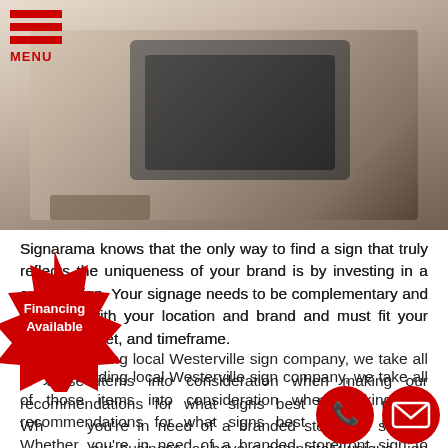[Figure (photo): Header image showing a signage or store interior scene with warm tones]
MENU
Signarama knows that the only way to find a sign that truly reflects the uniqueness of your brand is by investing in a custom sign. Your signage needs to be complementary and cohesive with your location and brand and must fit your needs, budget, and timeframe.
As your leading local Westerville sign company, we take all of those items into consideration when making our recommendations for what signs best fit your needs. Whether you're in need of a branded storefront sign to promote your business, or have a completely unique sign need, Signarama handles every aspect of your project.
Specialty signage is the best option when you need to